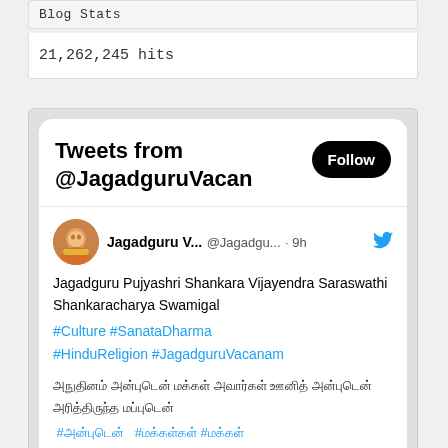Blog Stats
21,262,245 hits
[Figure (screenshot): Twitter widget showing tweets from @JagadguruVacan with a Follow button, avatar of Jagadguru V..., tweet text about Jagadguru Pujyashri Shankara Vijayendra Saraswathi Shankaracharya Swamigal with hashtags #Culture #SanataDharma #HinduReligion #JagadguruVacanam, Tamil text with Tamil hashtags and @KanchiMatham mention, and a partial image preview at the bottom.]